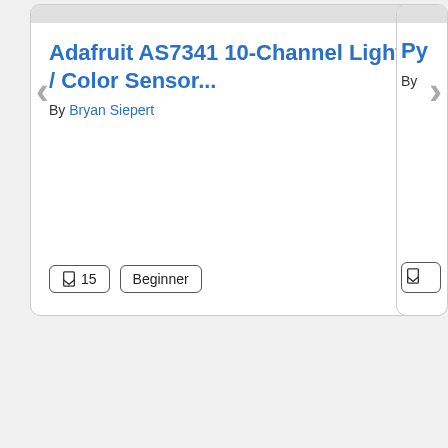Adafruit AS7341 10-Channel Light / Color Sensor...
By Bryan Siepert
□ 15   Beginner